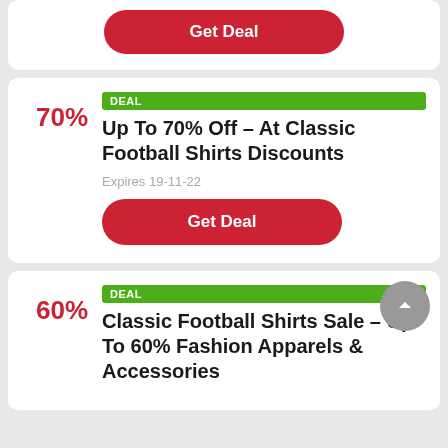[Figure (other): Get Deal button at top of page (partial card)]
DEAL
Up To 70% Off - At Classic Football Shirts Discounts
Expires 19-11-22
[Figure (other): Get Deal button for 70% off deal]
DEAL
Classic Football Shirts Sale - Up To 60% Fashion Apparels & Accessories